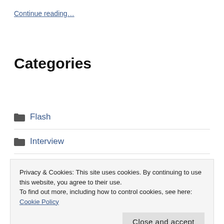Continue reading…
Categories
Flash
Interview
News
Privacy & Cookies: This site uses cookies. By continuing to use this website, you agree to their use.
To find out more, including how to control cookies, see here: Cookie Policy
Archives